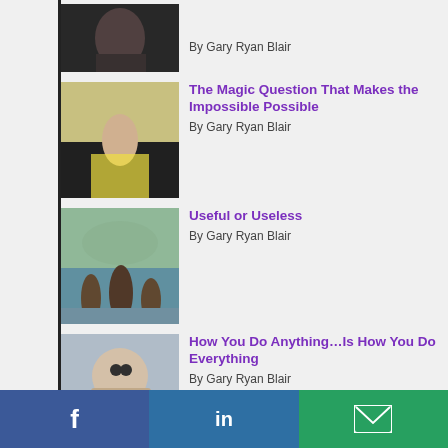By Gary Ryan Blair
The Magic Question That Makes the Impossible Possible
By Gary Ryan Blair
Useful or Useless
By Gary Ryan Blair
How You Do Anything…Is How You Do Everything
By Gary Ryan Blair
Pound. Grind. Deliver.
By Gary Ryan Blair
You're Biased…and Here's Why It's a Good Thing
By Gary Ryan Blair
Facebook | LinkedIn | Email